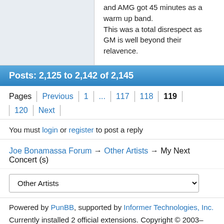and AMG got 45 minutes as a warm up band. This was a total disrespect as GM is well beyond their relavence.
Posts: 2,125 to 2,142 of 2,145
Pages  Previous  1  ...  117  118  119  120  Next
You must login or register to post a reply
Joe Bonamassa Forum → Other Artists → My Next Concert (s)
Other Artists (dropdown)
Powered by PunBB, supported by Informer Technologies, Inc.
Currently installed 2 official extensions. Copyright © 2003–2009 PunBB.